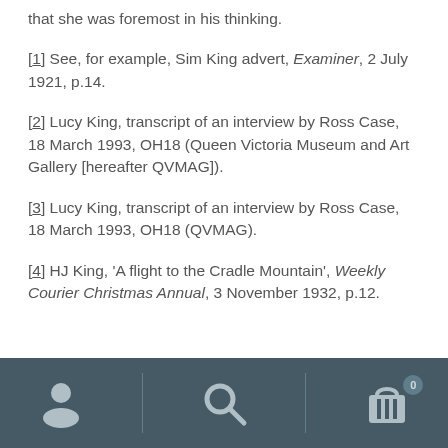that she was foremost in his thinking.
[1] See, for example, Sim King advert, Examiner, 2 July 1921, p.14.
[2] Lucy King, transcript of an interview by Ross Case, 18 March 1993, OH18 (Queen Victoria Museum and Art Gallery [hereafter QVMAG]).
[3] Lucy King, transcript of an interview by Ross Case, 18 March 1993, OH18 (QVMAG).
[4] HJ King, 'A flight to the Cradle Mountain', Weekly Courier Christmas Annual, 3 November 1932, p.12.